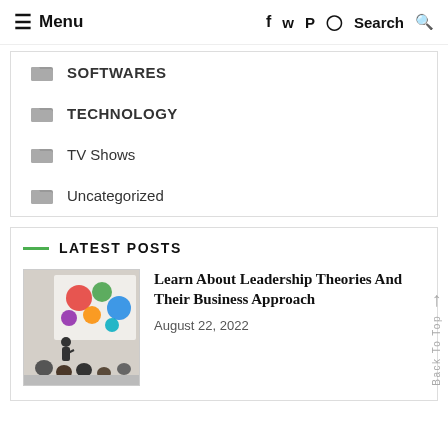≡ Menu   f  𝕨  𝗣  ⊙  Search 🔍
SOFTWARES
TECHNOLOGY
TV Shows
Uncategorized
LATEST POSTS
[Figure (photo): Person presenting in front of a colorful bubble/circle diagram on a whiteboard to an audience]
Learn About Leadership Theories And Their Business Approach
August 22, 2022